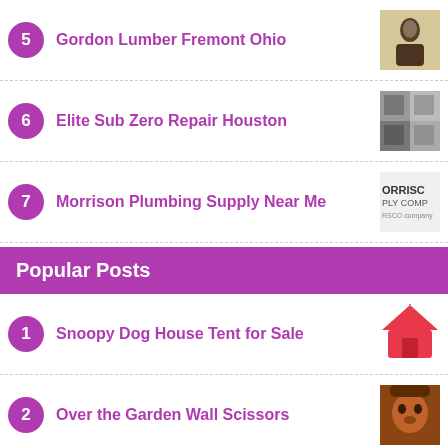5 Gordon Lumber Fremont Ohio
6 Elite Sub Zero Repair Houston
7 Morrison Plumbing Supply Near Me
Popular Posts
1 Snoopy Dog House Tent for Sale
2 Over the Garden Wall Scissors
3 Chandelier Crystals at Hobby Lobby